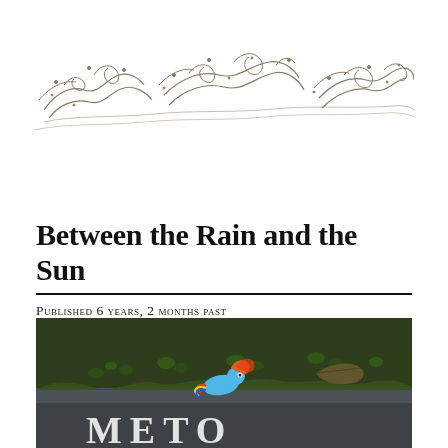[Figure (illustration): Decorative line illustration of ocean waves with swirling water and small dots/bubbles, drawn in a fine sketchy style]
Between the Rain and the Sun
Published 6 years, 2 months past
[Figure (photo): Photograph of a small colorful toy pony (Rainbow Dash) lying on top of a stone slab or grave marker, surrounded by green grass and clover, with a dead leaf nearby. The bottom of the stone has partial white lettering visible.]